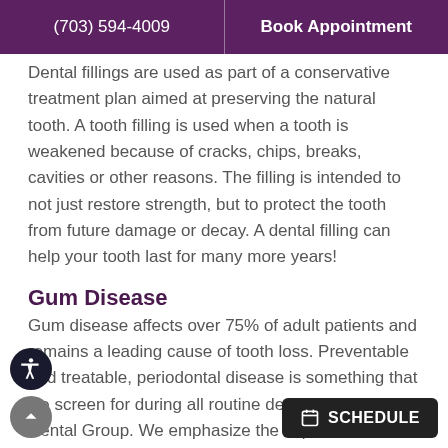(703) 594-4009  Book Appointment
Dental fillings are used as part of a conservative treatment plan aimed at preserving the natural tooth. A tooth filling is used when a tooth is weakened because of cracks, chips, breaks, cavities or other reasons. The filling is intended to not just restore strength, but to protect the tooth from future damage or decay. A dental filling can help your tooth last for many more years!
Gum Disease
Gum disease affects over 75% of adult patients and remains a leading cause of tooth loss. Preventable and treatable, periodontal disease is something that we screen for during all routine dental visits at Burg Dental Group. We emphasize the importance of